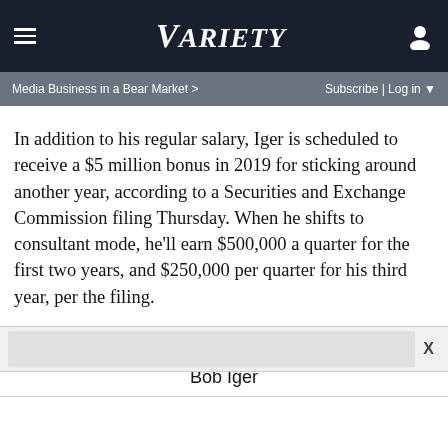VARIETY
Media Business in a Bear Market > | Subscribe | Log in
In addition to his regular salary, Iger is scheduled to receive a $5 million bonus in 2019 for sticking around another year, according to a Securities and Exchange Commission filing Thursday. When he shifts to consultant mode, he’ll earn $500,000 a quarter for the first two years, and $250,000 per quarter for his third year, per the filing.
Read More About:
Bob Iger